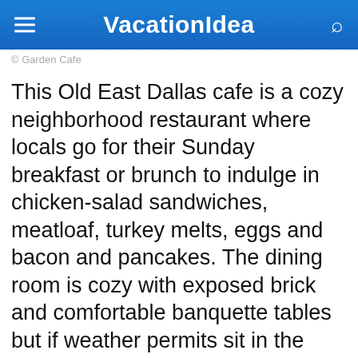VacationIdea
© Garden Cafe
This Old East Dallas cafe is a cozy neighborhood restaurant where locals go for their Sunday breakfast or brunch to indulge in chicken-salad sandwiches, meatloaf, turkey melts, eggs and bacon and pancakes. The dining room is cozy with exposed brick and comfortable banquette tables but if weather permits sit in the garden, or on the patio, and enjoy all the veggies and herbs that are more than a decoration, some of them are in your plate too.